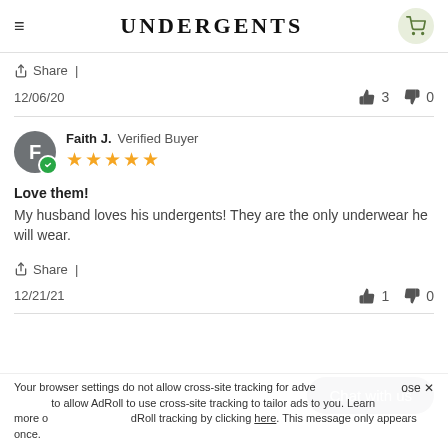UnderGents
Share |
12/06/20  👍 3  👎 0
Faith J. Verified Buyer — 5 stars — Love them! — My husband loves his undergents! They are the only underwear he will wear. — Share | — 12/21/21 👍 1 👎 0
Your browser settings do not allow cross-site tracking for advertising. Select "Allow" to allow AdRoll to use cross-site tracking to tailor ads to you. Learn more or opt out of this AdRoll tracking by clicking here. This message only appears once.